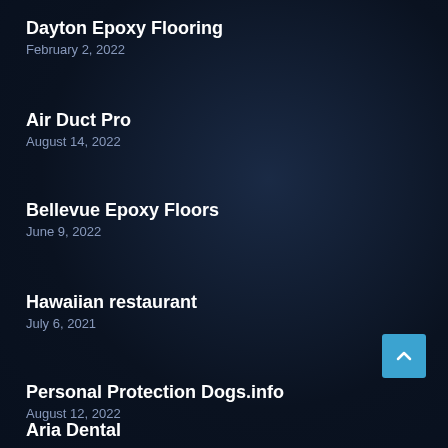Dayton Epoxy Flooring
February 2, 2022
Air Duct Pro
August 14, 2022
Bellevue Epoxy Floors
June 9, 2022
Hawaiian restaurant
July 6, 2021
Personal Protection Dogs.info
August 12, 2022
Aria Dental